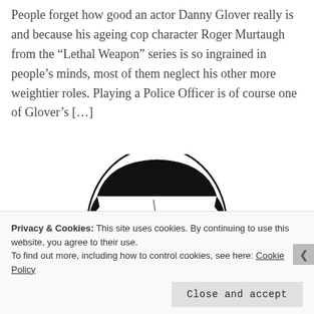People forget how good an actor Danny Glover really is and because his ageing cop character Roger Murtaugh from the “Lethal Weapon” series is so ingrained in people’s minds, most of them neglect his other more weightier roles. Playing a Police Officer is of course one of Glover’s […]
[Figure (illustration): Black and white ink illustration of a man's face from the forehead to just below the nose, showing furrowed brows and an intense expression, drawn in a comic/graphic novel style.]
Privacy & Cookies: This site uses cookies. By continuing to use this website, you agree to their use.
To find out more, including how to control cookies, see here: Cookie Policy
Close and accept